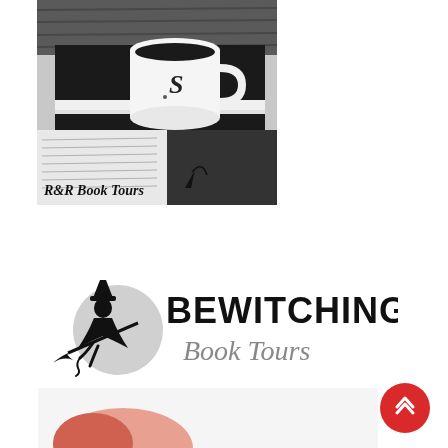[Figure (logo): R&R Book Tours logo: black and white photo of a coffee mug with the letter S on a stack of books, with an open book in the foreground. Text at the bottom reads 'R&R Book Tours' in stylized script with a quill pen icon.]
[Figure (logo): Bewitching Book Tours logo: silhouette of a witch riding a broomstick in front of a large moon on the left, bold text 'BEWITCHING' in black block letters, and 'Book Tours' in gray cursive script below.]
[Figure (logo): Partial view of another logo at the bottom of the page, partially cut off.]